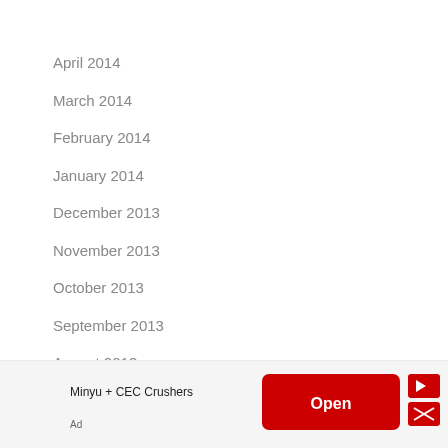April 2014
March 2014
February 2014
January 2014
December 2013
November 2013
October 2013
September 2013
August 2013
July 2013
June 2013
May 2013
[Figure (other): Advertisement banner: Minyu + CEC Crushers with Open button]